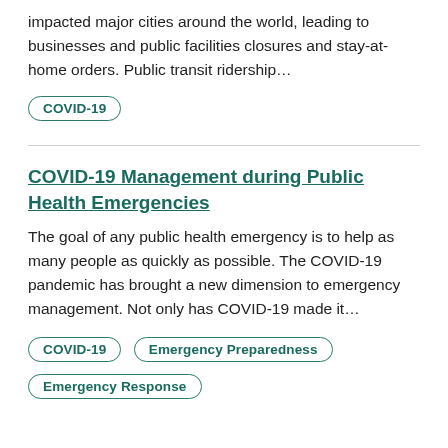impacted major cities around the world, leading to businesses and public facilities closures and stay-at-home orders. Public transit ridership…
COVID-19
COVID-19 Management during Public Health Emergencies
The goal of any public health emergency is to help as many people as quickly as possible. The COVID-19 pandemic has brought a new dimension to emergency management. Not only has COVID-19 made it…
COVID-19
Emergency Preparedness
Emergency Response